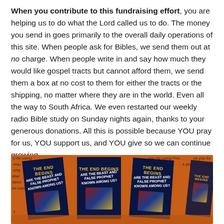When you contribute to this fundraising effort, you are helping us to do what the Lord called us to do. The money you send in goes primarily to the overall daily operations of this site. When people ask for Bibles, we send them out at no charge. When people write in and say how much they would like gospel tracts but cannot afford them, we send them a box at no cost to them for either the tracts or the shipping, no matter where they are in the world. Even all the way to South Africa. We even restarted our weekly radio Bible study on Sunday nights again, thanks to your generous donations. All this is possible because YOU pray for us, YOU support us, and YOU give so we can continue growing.
[Figure (photo): Photo of several 'The End Begins' DVD/booklets laid in Priority Mail shipping boxes with orange Priority Mail packaging visible]